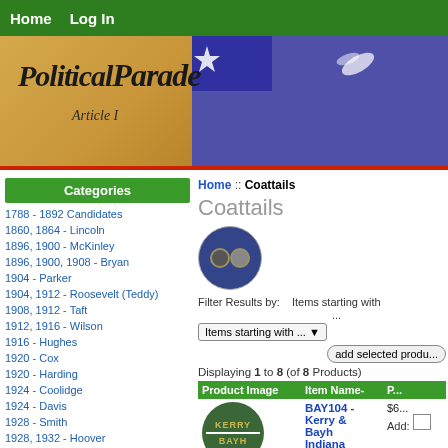Home  Log In
[Figure (photo): Political Parade banner with American flag background and script logo text]
Categories
1788 - 1892 Candidates
1860, 1864 - Lincoln
1896, 1900 - McKinley
1896, 1900, 1908 - Bryan
1904 - Parker
1904, 1912 - Roosevelt (Teddy)
1908, 1912 - Taft
1912, 1916 - Wilson
1916 - Hughes
1920 - Cox
1920 - Harding
1924 - Coolidge
1924 - Davis
1928 - Smith
1928, 1932 - Hoover
1932 - 1944 - Roosevelt (FDR)
1936 - Landon
1940 - Willkie
1944, 1948 - Dewey
1948 - Truman
1952, 1956 - Eisenhower (Ike)
1952, 1956 - Stevenson
1960 - Kennedy (JFK)
Home :: Coattails
Coattails
Filter Results by:  Items starting with ...
Items starting with ... ▼
add selected produ...
Displaying 1 to 8 (of 8 Products)
| Product Image | Item Name- | P... |
| --- | --- | --- |
| [Kerry Bayh button image] | BAY104 - Kerry & Bayh Indiana Coattail button
Very good | $6... | Add: |